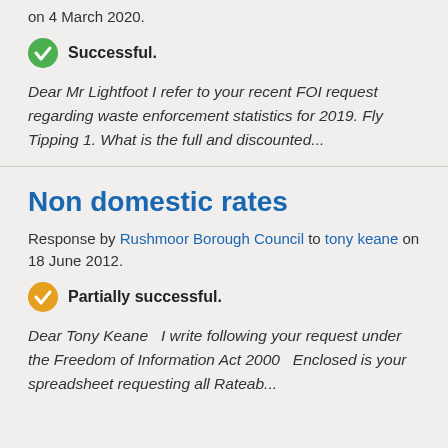Response by Rushmoor Borough Council to Bobby Lightfoot on 4 March 2020.
Successful.
Dear Mr Lightfoot I refer to your recent FOI request regarding waste enforcement statistics for 2019. Fly Tipping 1. What is the full and discounted...
Non domestic rates
Response by Rushmoor Borough Council to tony keane on 18 June 2012.
Partially successful.
Dear Tony Keane   I write following your request under the Freedom of Information Act 2000   Enclosed is your spreadsheet requesting all Rateab...